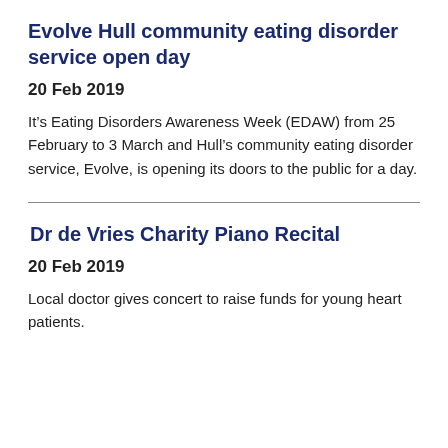Evolve Hull community eating disorder service open day
20 Feb 2019
It’s Eating Disorders Awareness Week (EDAW) from 25 February to 3 March and Hull’s community eating disorder service, Evolve, is opening its doors to the public for a day.
Dr de Vries Charity Piano Recital
20 Feb 2019
Local doctor gives concert to raise funds for young heart patients.